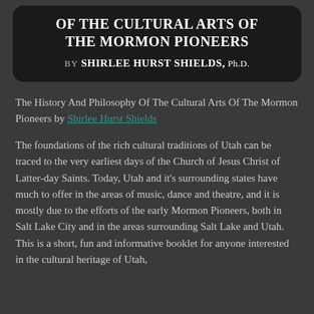Of The Cultural Arts Of The Mormon Pioneers by Shirlee Hurst Shields, Ph.D.
The History And Philosophy Of The Cultural Arts Of The Mormon Pioneers by Shirlee Hurst Shields
The foundations of the rich cultural traditions of Utah can be traced to the very earliest days of the Church of Jesus Christ of Latter-day Saints. Today, Utah and it's surrounding states have much to offer in the areas of music, dance and theatre, and it is mostly due to the efforts of the early Mormon Pioneers, both in Salt Lake City and in the areas surrounding Salt Lake and Utah. This is a short, fun and informative booklet for anyone interested in the cultural heritage of Utah, The Mormons and the West.